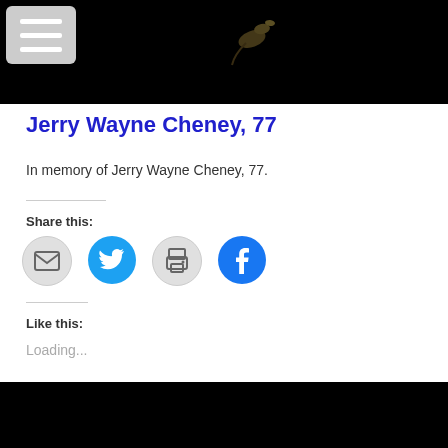[Figure (photo): Dark/black image with a bird silhouette visible near the top, occupying the top portion of the page. A menu hamburger button overlay is in the top-left corner.]
Jerry Wayne Cheney, 77
In memory of Jerry Wayne Cheney, 77.
Share this:
[Figure (infographic): Social sharing icons: email (grey circle), Twitter (blue circle with bird), print (grey circle with printer), Facebook (blue circle with f logo)]
Like this:
Loading...
[Figure (photo): Dark/black image at the bottom of the page.]